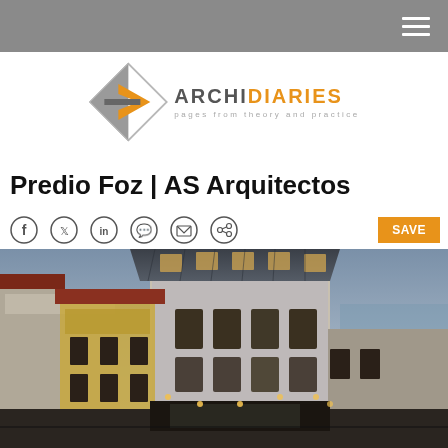navigation bar with hamburger menu
[Figure (logo): ArchiDiaries logo: diamond shape with arrow, text ARCHIDIARIES and tagline 'pages from theory and practice']
Predio Foz | AS Arquitectos
Social share icons (Facebook, Twitter, LinkedIn, WhatsApp, Email, Share) and SAVE button
[Figure (photo): Aerial/elevated view of the Predio Foz building in Porto, showing a renovated historic building with traditional azulejo tile facade, modern zinc roof extensions with dormer windows, street below with neighboring buildings, and the ocean visible in the background at dusk/evening.]